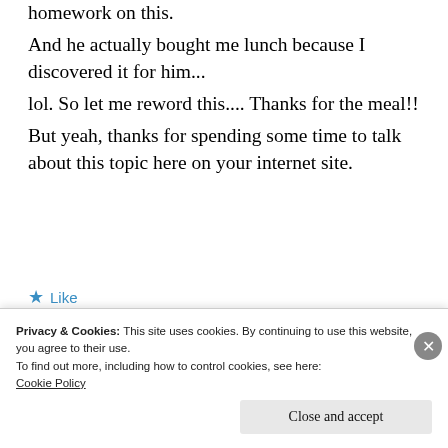homework on this.
And he actually bought me lunch because I discovered it for him...
lol. So let me reword this.... Thanks for the meal!!
But yeah, thanks for spending some time to talk about this topic here on your internet site.
★ Like
Privacy & Cookies: This site uses cookies. By continuing to use this website, you agree to their use.
To find out more, including how to control cookies, see here:
Cookie Policy
Close and accept